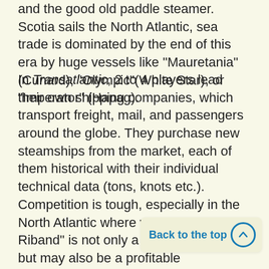and the good old paddle steamer. Scotia sails the North Atlantic, sea trade is dominated by the end of this era by huge vessels like "Mauretania"(Cunard), "Olympic"(White Star), or "Imperator" (Hapag).
In Transatlantic, 2 to 4 players lead their own shipping companies, which transport freight, mail, and passengers around the globe. They purchase new steamships from the market, each of them historical with their individual technical data (tons, knots etc.). Competition is tough, especially in the North Atlantic where winning the "Blue Riband" is not only a matter of prestige, but may also be a profitable investment. In order to let a shipping company flourish, purchasing the best steamships is not enough, if one fails to acquire enough coal bunkers and trade